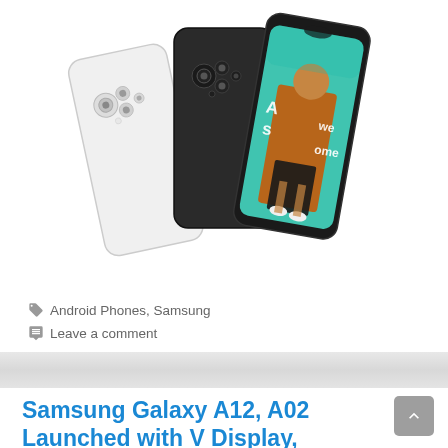[Figure (photo): Three Samsung Galaxy smartphones displayed together — a white phone showing its back (quad cameras), a dark/black phone showing its back, and a phone with a teal screen showing a young woman walking with 'Awesome' text overlay. Phones are fanned out at slight angles.]
🏷 Android Phones, Samsung
💬 Leave a comment
Samsung Galaxy A12, A02 Launched with V Display,